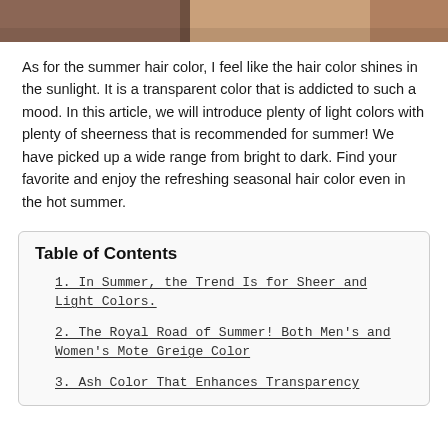[Figure (photo): Partial view of people's hair at the top of the page, cropped strip]
As for the summer hair color, I feel like the hair color shines in the sunlight. It is a transparent color that is addicted to such a mood. In this article, we will introduce plenty of light colors with plenty of sheerness that is recommended for summer! We have picked up a wide range from bright to dark. Find your favorite and enjoy the refreshing seasonal hair color even in the hot summer.
Table of Contents
1. In Summer, the Trend Is for Sheer and Light Colors.
2. The Royal Road of Summer! Both Men's and Women's Mote Greige Color
3. Ash Color That Enhances Transparency